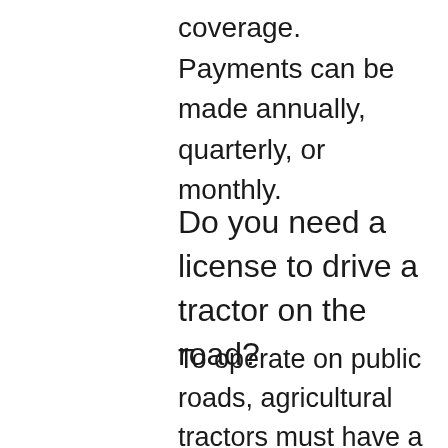coverage. Payments can be made annually, quarterly, or monthly.
Do you need a license to drive a tractor on the road?
To operate on public roads, agricultural tractors must have a category F licence. Holders of a category B (car) licence immediately qualify for category